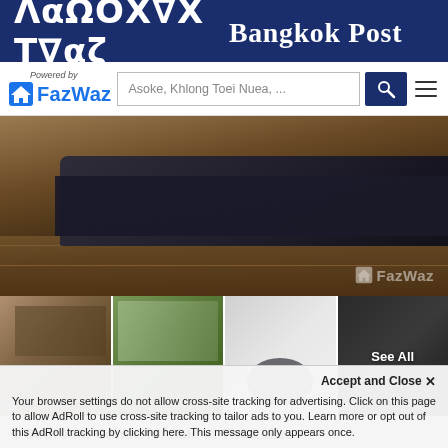Bangkok Post
[Figure (logo): FazWaz logo with 'Powered by' text above and a house icon to the left of FazWaz brand name in blue]
Asoke, Khlong Toei Nuea, ...
[Figure (photo): Main listing photo showing a black leather sofa/couch on a wooden floor with FazWaz watermark]
[Figure (photo): Four thumbnail photos: living/dining area, bedroom with green walls, bathroom, and a fourth dark outdoor photo with 'See All' overlay]
1 Bedroom Condo for sale at The Lakes
The Lakes-the luxurious condo in Sukhumvit's central city, surrounded by greenery area, allowing all residents to commune with the stunning landscape of Benjasiri Park. It is close to Asok BTS and Suk...
1   2.5   183 SqM   Condo
Accept and Close ✕
Your browser settings do not allow cross-site tracking for advertising. Click on this page to allow AdRoll to use cross-site tracking to tailor ads to you. Learn more or opt out of this AdRoll tracking by clicking here. This message only appears once.